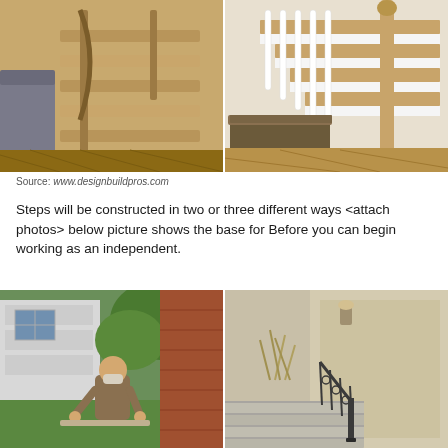[Figure (photo): Two side-by-side photos of wooden staircases inside a home. The left image shows natural wood stairs with a wooden railing and a gray couch nearby. The right image shows white-painted balusters with wood treads and a patterned bench at the base.]
Source: www.designbuildpros.com
Steps will be constructed in two or three different ways <attach photos> below picture shows the base for Before you can begin working as an independent.
[Figure (photo): Two side-by-side outdoor photos. The left image shows a man wearing a mask bending over and working in a garden near a white house. The right image shows exterior concrete steps with decorative wrought iron railing next to a beige stucco house.]